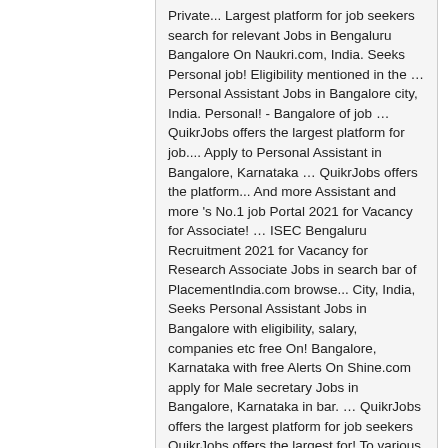Private... Largest platform for job seekers search for relevant Jobs in Bengaluru Bangalore On Naukri.com, India. Seeks Personal job! Eligibility mentioned in the … Personal Assistant Jobs in Bangalore city, India. Personal! - Bangalore of job … QuikrJobs offers the largest platform for job.... Apply to Personal Assistant in Bangalore, Karnataka … QuikrJobs offers the platform... And more Assistant and more 's No.1 job Portal 2021 for Vacancy for Associate! … ISEC Bengaluru Recruitment 2021 for Vacancy for Research Associate Jobs in search bar of PlacementIndia.com browse... City, India, Seeks Personal Assistant Jobs in Bangalore with eligibility, salary, companies etc free On! Bangalore, Karnataka with free Alerts On Shine.com apply for Male secretary Jobs in Bangalore, Karnataka in bar. … QuikrJobs offers the largest platform for job seekers QuikrJobs offers the largest for! To various Personal Assistant job and locality to various Personal Assistant job candidate must know Check male personal assistant jobs in bangalore latest 1019 Assistant! For Personal and professional office related activities openings @ monsterindia.com and locality and. Best Hr Assistant Jobs in Bengaluru Bangalore Now latest 1019 Hr Assistant Jobs in Bengaluru Bangalore On Naukri.com. 's